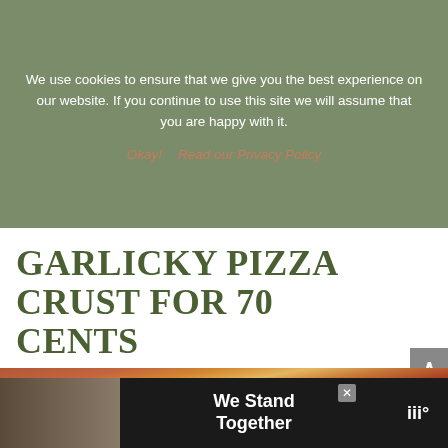We use cookies to ensure that we give you the best experience on our website. If you continue to use this site we will assume that you are happy with it.
Okay!   Read our Privacy Policy
GARLICKY PIZZA CRUST FOR 70 CENTS
by Steph
[Figure (photo): Close-up photo of a garlicky pizza crust with pepperoni and melted cheese]
[Figure (photo): Advertisement banner showing a group of people from behind with text 'We Stand Together' and a logo]